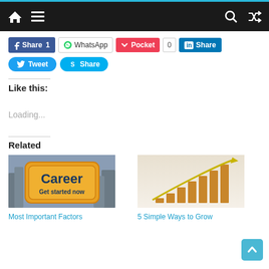Navigation bar with home, menu, search, and shuffle icons
[Figure (screenshot): Social share buttons row: Facebook Share 1, WhatsApp, Pocket 0, LinkedIn Share]
[Figure (screenshot): Social share buttons row 2: Twitter Tweet, Skype Share]
Like this:
Loading...
Related
[Figure (photo): Yellow road sign reading 'Career Get started now' against winter tree background]
Most Important Factors
[Figure (photo): Bar chart with gold arrow pointing up, representing growth]
5 Simple Ways to Grow